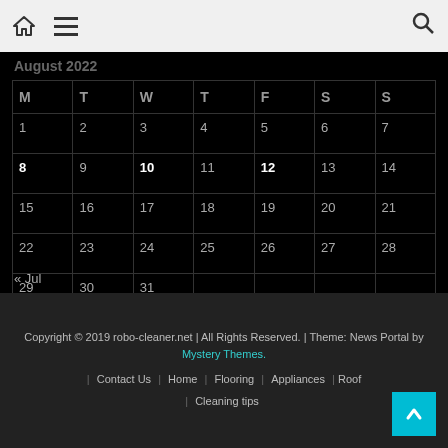Navigation bar with home icon, menu icon, search icon
August 2022
| M | T | W | T | F | S | S |
| --- | --- | --- | --- | --- | --- | --- |
| 1 | 2 | 3 | 4 | 5 | 6 | 7 |
| 8 | 9 | 10 | 11 | 12 | 13 | 14 |
| 15 | 16 | 17 | 18 | 19 | 20 | 21 |
| 22 | 23 | 24 | 25 | 26 | 27 | 28 |
| 29 | 30 | 31 |  |  |  |  |
« Jul
Copyright © 2019 robo-cleaner.net | All Rights Reserved. | Theme: News Portal by Mystery Themes. | Contact Us | Home | Flooring | Appliances | Roofing | Cleaning tips